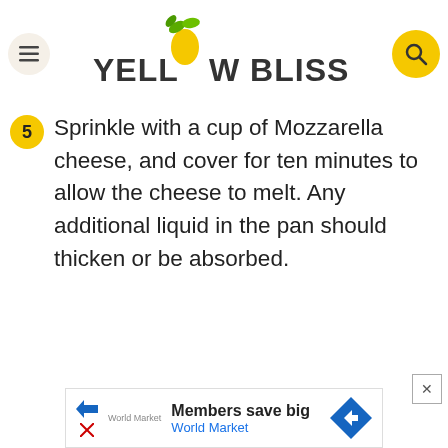YELLOW BLISS ROAD
Sprinkle with a cup of Mozzarella cheese, and cover for ten minutes to allow the cheese to melt. Any additional liquid in the pan should thicken or be absorbed.
[Figure (infographic): Advertisement banner for World Market: 'Members save big / World Market' with navigation arrow icon]